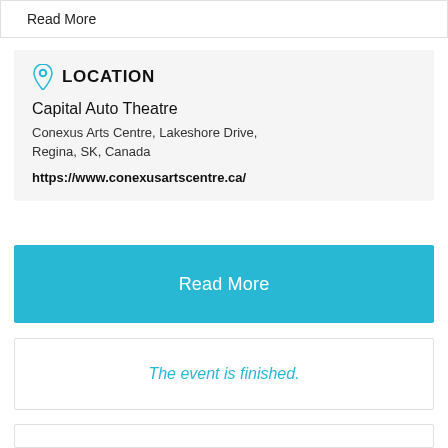Read More
LOCATION
Capital Auto Theatre
Conexus Arts Centre, Lakeshore Drive, Regina, SK, Canada
https://www.conexusartscentre.ca/
Read More
The event is finished.